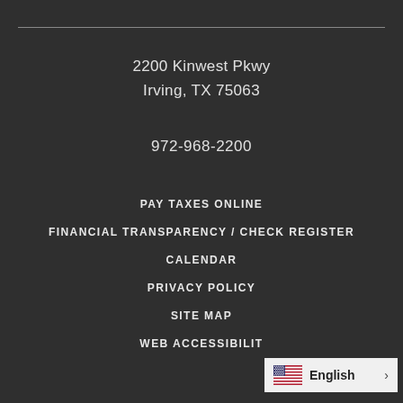2200 Kinwest Pkwy
Irving, TX 75063
972-968-2200
PAY TAXES ONLINE
FINANCIAL TRANSPARENCY / CHECK REGISTER
CALENDAR
PRIVACY POLICY
SITE MAP
WEB ACCESSIBILIT…
English